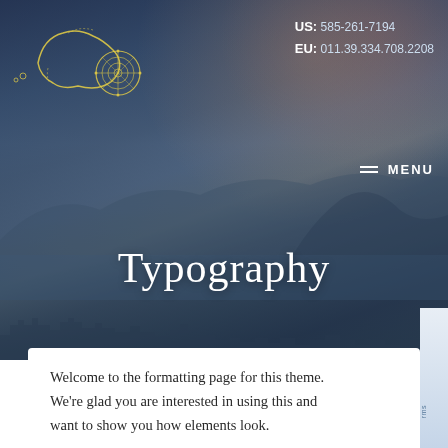[Figure (screenshot): Website screenshot showing a travel/tourism website header with a scenic Mediterranean coastal photo background featuring mountains and a coastal town at dusk/twilight. Contains a logo of Sicily outline with compass rose in yellow line art on the left, contact details (US: 585-261-7194, EU: 011.39.334.708.2208) on the upper right, a hamburger menu icon with MENU label, the page title 'Typography' centered over the hero image, and the beginning of a white content panel at the bottom with text 'Welcome to the formatting page for this theme. We're glad you are interested in using this and want to show you how elements look.']